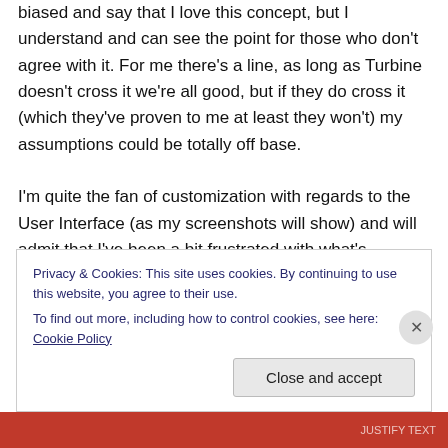biased and say that I love this concept, but I understand and can see the point for those who don't agree with it. For me there's a line, as long as Turbine doesn't cross it we're all good, but if they do cross it (which they've proven to me at least they won't) my assumptions could be totally off base.

I'm quite the fan of customization with regards to the User Interface (as my screenshots will show) and will admit that I've been a bit frustrated with what's available currently to the folks willing to spend the time developing new UI skins. For me, I'm really hoping Lua gives us more access
Privacy & Cookies: This site uses cookies. By continuing to use this website, you agree to their use.
To find out more, including how to control cookies, see here: Cookie Policy